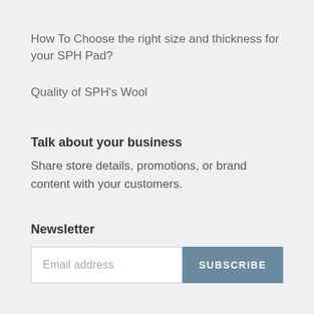How To Choose the right size and thickness for your SPH Pad?
Quality of SPH's Wool
Talk about your business
Share store details, promotions, or brand content with your customers.
Newsletter
Email address
SUBSCRIBE